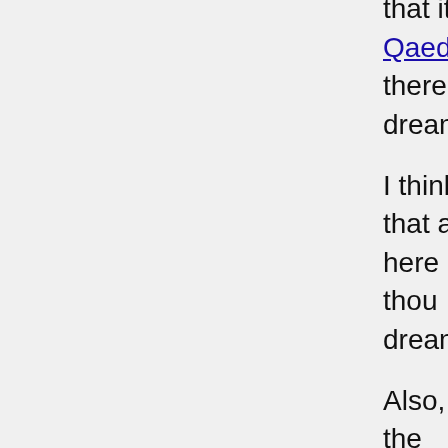that it was ok now, that the Al Qaeda there was a lot more to the dream,
I think this may be a warning that a here in central Arkansas. First thou dream was Texas.
Also, I believe the baby may be the harvest (combine) that was told of f
Being a former farmer, let me tell yo does:
The cab is located at the top of the mac header.
The wheat, rice, soybeans, etc. that go i separate the weeds from the wheat.
The weeds are then blown out the rear o
That's it in a nutshell! Kind of like w separating the tares from the whea